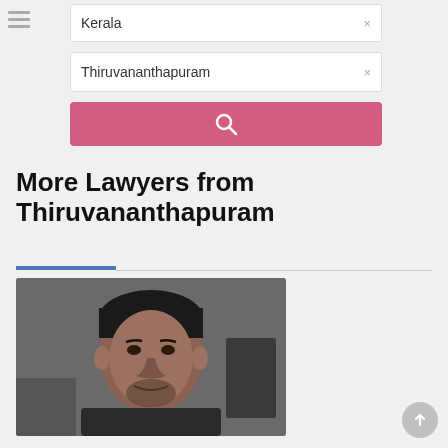[Figure (screenshot): Hamburger menu icon (three horizontal lines) on the left side]
Kerala ×
Thiruvananthapuram ×
[Figure (screenshot): Pink search button with magnifying glass icon]
More Lawyers from Thiruvananthapuram
[Figure (photo): Portrait photo of a middle-aged man in a dark shirt, sitting indoors with office background]
[Figure (screenshot): Scroll-to-top circular button with upward arrow]